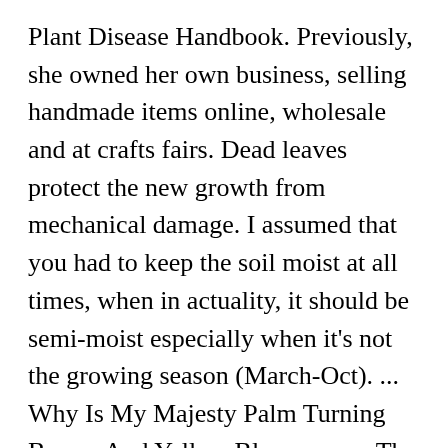Plant Disease Handbook. Previously, she owned her own business, selling handmade items online, wholesale and at crafts fairs. Dead leaves protect the new growth from mechanical damage. I assumed that you had to keep the soil moist at all times, when in actuality, it should be semi-moist especially when it's not the growing season (March-Oct). ... Why Is My Majesty Palm Turning Brown And Yellow Bloomscape. The exception to this is when plants are not actively growing, in winter. If the air is too dry and the palm isn't getting adequate humidity, the foliage and tips can start browning. Sensitive to repotting. We put it on our patio where there is direct sun light for